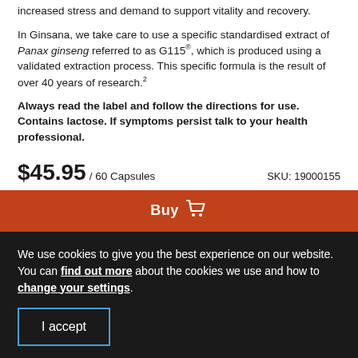increased stress and demand to support vitality and recovery.
In Ginsana, we take care to use a specific standardised extract of Panax ginseng referred to as G115®, which is produced using a validated extraction process. This specific formula is the result of over 40 years of research.²
Always read the label and follow the directions for use. Contains lactose. If symptoms persist talk to your health professional.
$45.95 / 60 Capsules    SKU: 19000155
[Figure (other): Orange Buy button with shopping cart icon]
We use cookies to give you the best experience on our website. You can find out more about the cookies we use and how to change your settings.
I accept